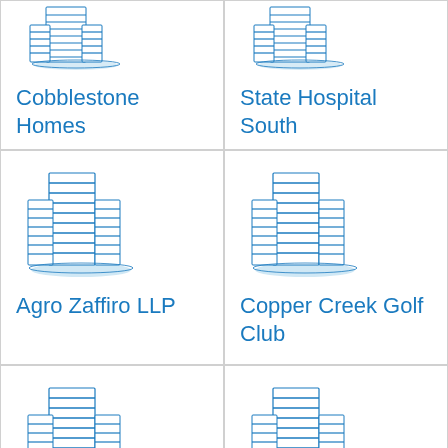[Figure (logo): Building icon for Cobblestone Homes]
Cobblestone Homes
[Figure (logo): Building icon for State Hospital South]
State Hospital South
[Figure (logo): Building icon for Agro Zaffiro LLP]
Agro Zaffiro LLP
[Figure (logo): Building icon for Copper Creek Golf Club]
Copper Creek Golf Club
[Figure (logo): Building icon for Delaware Place Bank]
Delaware Place Bank
[Figure (logo): Building icon for Interac Association / Acxsys Corporation]
Interac Association / Acxsys Corporation